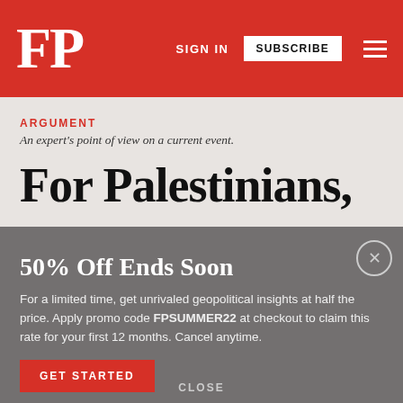FP  SIGN IN  SUBSCRIBE
ARGUMENT
An expert's point of view on a current event.
For Palestinians,
50% Off Ends Soon
For a limited time, get unrivaled geopolitical insights at half the price. Apply promo code FPSUMMER22 at checkout to claim this rate for your first 12 months. Cancel anytime.
GET STARTED
CLOSE